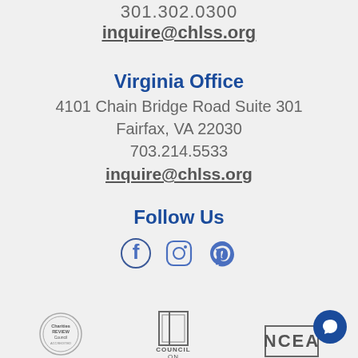301.302.0300
inquire@chlss.org
Virginia Office
4101 Chain Bridge Road Suite 301
Fairfax, VA 22030
703.214.5533
inquire@chlss.org
Follow Us
[Figure (infographic): Social media icons: Facebook, Instagram, Pinterest in blue]
[Figure (logo): Charities rating council circular badge]
[Figure (logo): Council on logo with building icon and text COUNCIL ON]
[Figure (logo): NCEA logo in bordered box]